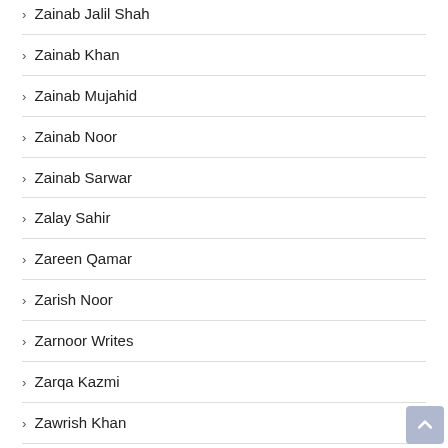› Zainab Jalil Shah
› Zainab Khan
› Zainab Mujahid
› Zainab Noor
› Zainab Sarwar
› Zalay Sahir
› Zareen Qamar
› Zarish Noor
› Zarnoor Writes
› Zarqa Kazmi
› Zawrish Khan
› Zeba Hasan Makhdoom
› Zeelah Zafar
› Zeenia Noori
› Zeenia Sharjeel
› Zeeniya Noori